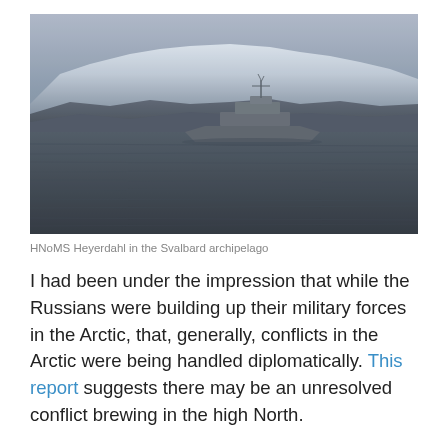[Figure (photo): A naval vessel (HNoMS Heyerdahl) sailing on choppy dark waters with snow-capped mountains in the background, under a grey sky. The scene is the Svalbard archipelago.]
HNoMS Heyerdahl in the Svalbard archipelago
I had been under the impression that while the Russians were building up their military forces in the Arctic, that, generally, conflicts in the Arctic were being handled diplomatically. This report suggests there may be an unresolved conflict brewing in the high North.